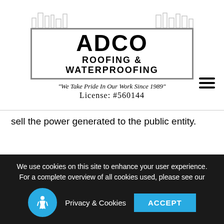[Figure (logo): ADCO Roofing & Waterproofing logo with skyline silhouette, tagline 'We Take Pride In Our Work Since 1989', and License: #560144]
sell the power generated to the public entity.
Proximity to transmission infrastructure
We use cookies on this site to enhance your user experience. For a complete overview of all cookies used, please see our Privacy & Cookies ACCEPT